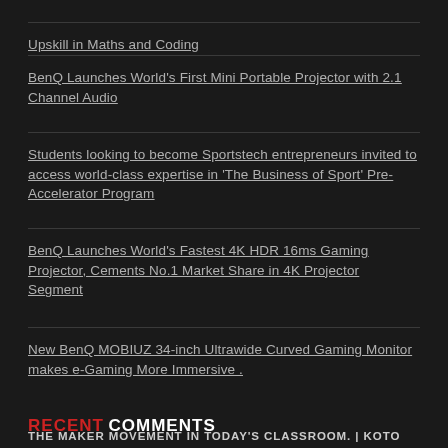Upskill in Maths and Coding
BenQ Launches World's First Mini Portable Projector with 2.1 Channel Audio
Students looking to become Sportstech entrepreneurs invited to access world-class expertise in 'The Business of Sport' Pre-Accelerator Program
BenQ Launches World's Fastest 4K HDR 16ms Gaming Projector, Cements No.1 Market Share in 4K Projector Segment
New BenQ MOBIUZ 34-inch Ultrawide Curved Gaming Monitor makes e-Gaming More Immersive .
RECENT COMMENTS
THE MAKER MOVEMENT IN TODAY'S CLASSROOM. | KOTO